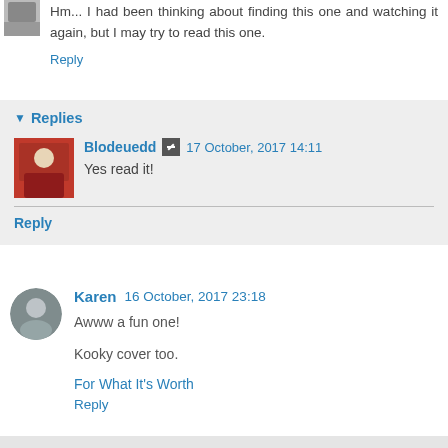Hm... I had been thinking about finding this one and watching it again, but I may try to read this one.
Reply
Replies
Blodeuedd  17 October, 2017 14:11
Yes read it!
Reply
Karen  16 October, 2017 23:18
Awww a fun one!

Kooky cover too.

For What It's Worth
Reply